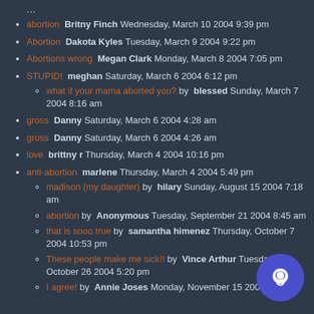abortion  Britny Finch Wednesday, March 10 2004 9:39 pm
Abortion  Dakota Kyles Tuesday, March 9 2004 9:22 pm
Abortions wrong  Megan Clark Monday, March 8 2004 7:05 pm
STUPID!  meghan Saturday, March 6 2004 6:12 pm
what if your mama aborted you? by  blessed Sunday, March 7 2004 8:16 am
gross  Danny Saturday, March 6 2004 4:28 am
gross  Danny Saturday, March 6 2004 4:26 am
love  brittny r Thursday, March 4 2004 10:16 pm
anti-abortion  marlene Thursday, March 4 2004 5:49 pm
madison (my daughter) by  hilary Sunday, August 15 2004 7:18 am
abortion by  Anonymous Tuesday, September 21 2004 8:45 am
that is sooo true by  samantha himenez Thursday, October 7 2004 10:53 pm
These people make me sick!! by  Vince Arthur Tuesday, October 26 2004 5:20 pm
I agree! by  Annie Joses Monday, November 15 2004